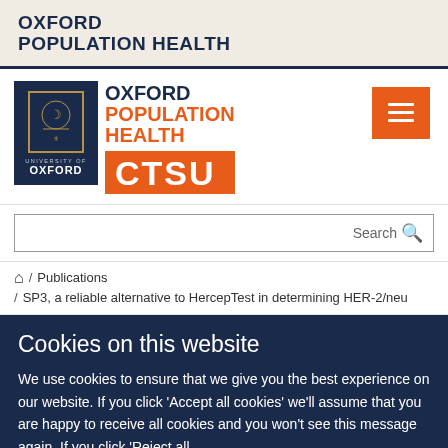OXFORD POPULATION HEALTH
[Figure (logo): Oxford Population Health CTSU logo with University of Oxford shield and text]
Search
Home / Publications / SP3, a reliable alternative to HercepTest in determining HER-2/neu
Cookies on this website
We use cookies to ensure that we give you the best experience on our website. If you click 'Accept all cookies' we'll assume that you are happy to receive all cookies and you won't see this message again. If you click 'Reject all